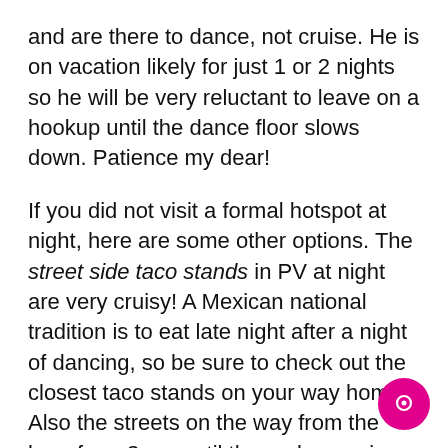and are there to dance, not cruise. He is on vacation likely for just 1 or 2 nights so he will be very reluctant to leave on a hookup until the dance floor slows down. Patience my dear!
If you did not visit a formal hotspot at night, here are some other options. The street side taco stands in PV at night are very cruisy! A Mexican national tradition is to eat late night after a night of dancing, so be sure to check out the closest taco stands on your way home. Also the streets on the way from the bars from 3 am until the early morning hours are cruising hotspots!
A final cruising tip: If there is a big circuit party in town, find out if there are any after parties from our gay event calendar. If so main streets from the bars to the hotels (Olas Altas, Basilio Badillo